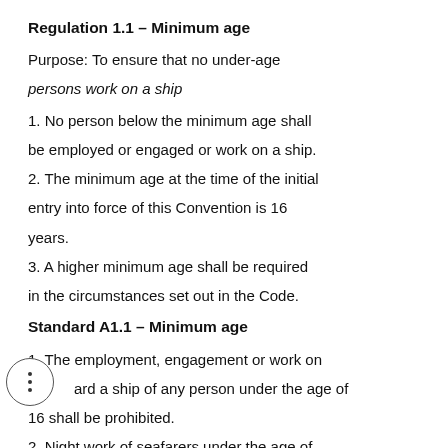Regulation 1.1 – Minimum age
Purpose: To ensure that no under-age
persons work on a ship
1. No person below the minimum age shall be employed or engaged or work on a ship.
2. The minimum age at the time of the initial entry into force of this Convention is 16 years.
3. A higher minimum age shall be required in the circumstances set out in the Code.
Standard A1.1 – Minimum age
1. The employment, engagement or work on board a ship of any person under the age of 16 shall be prohibited.
2. Night work of seafarers under the age of